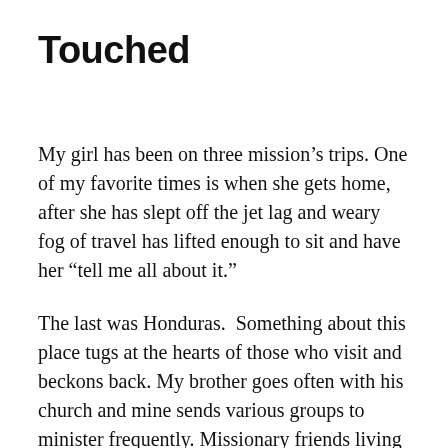Touched
My girl has been on three mission’s trips. One of my favorite times is when she gets home, after she has slept off the jet lag and weary fog of travel has lifted enough to sit and have her “tell me all about it.”
The last was Honduras.  Something about this place tugs at the hearts of those who visit and beckons back. My brother goes often with his church and mine sends various groups to minister frequently. Missionary friends living